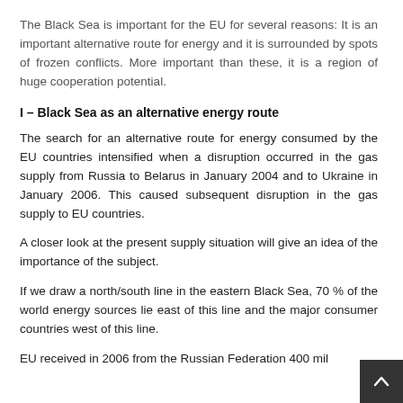The Black Sea is important for the EU for several reasons: It is an important alternative route for energy and it is surrounded by spots of frozen conflicts. More important than these, it is a region of huge cooperation potential.
I – Black Sea as an alternative energy route
The search for an alternative route for energy consumed by the EU countries intensified when a disruption occurred in the gas supply from Russia to Belarus in January 2004 and to Ukraine in January 2006. This caused subsequent disruption in the gas supply to EU countries.
A closer look at the present supply situation will give an idea of the importance of the subject.
If we draw a north/south line in the eastern Black Sea, 70 % of the world energy sources lie east of this line and the major consumer countries west of this line.
EU received in 2006 from the Russian Federation 400 mil